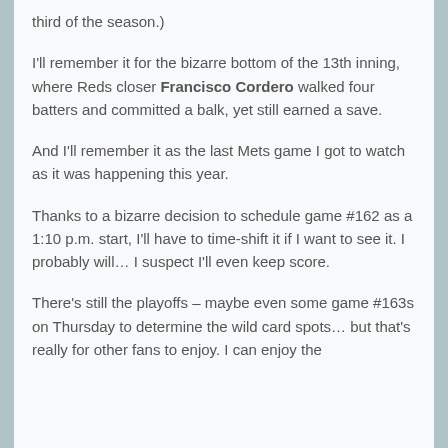third of the season.)
I'll remember it for the bizarre bottom of the 13th inning, where Reds closer Francisco Cordero walked four batters and committed a balk, yet still earned a save.
And I'll remember it as the last Mets game I got to watch as it was happening this year.
Thanks to a bizarre decision to schedule game #162 as a 1:10 p.m. start, I'll have to time-shift it if I want to see it. I probably will… I suspect I'll even keep score.
There's still the playoffs – maybe even some game #163s on Thursday to determine the wild card spots… but that's really for other fans to enjoy. I can enjoy the